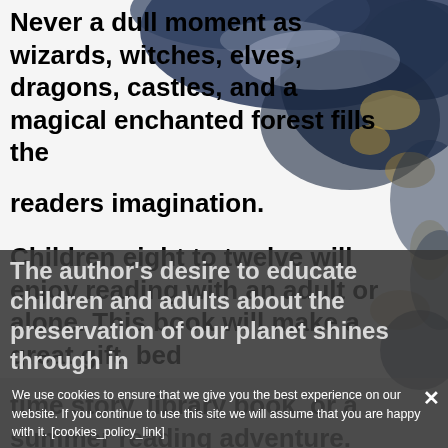Never a dull moment as wizards, witches, elves, dragons, castles, and a magical enchanted forest fills the readers imagination.
Children eight to twelve will enjoy reading with an adult or alone. This book will make a great gift, bed time story, library book, or a summer reading adventure.
The author's desire to educate children and adults about the preservation of our planet shines through in
We use cookies to ensure that we give you the best experience on our website. If you continue to use this site we will assume that you are happy with it. [cookies_policy_link]